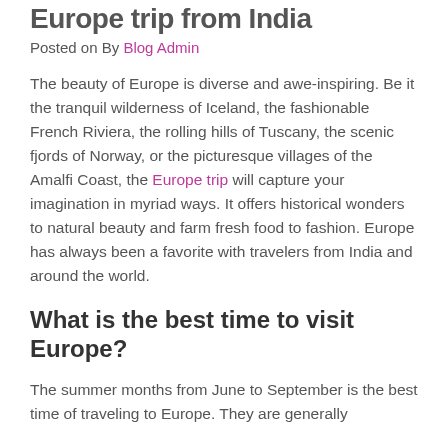Europe trip from India
Posted on By Blog Admin
The beauty of Europe is diverse and awe-inspiring. Be it the tranquil wilderness of Iceland, the fashionable French Riviera, the rolling hills of Tuscany, the scenic fjords of Norway, or the picturesque villages of the Amalfi Coast, the Europe trip will capture your imagination in myriad ways. It offers historical wonders to natural beauty and farm fresh food to fashion. Europe has always been a favorite with travelers from India and around the world.
What is the best time to visit Europe?
The summer months from June to September is the best time of traveling to Europe. They are generally